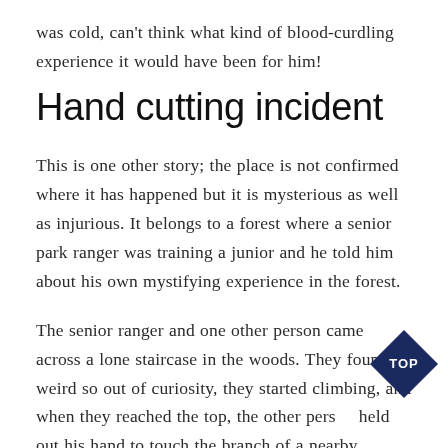was cold, can't think what kind of blood-curdling experience it would have been for him!
Hand cutting incident
This is one other story; the place is not confirmed where it has happened but it is mysterious as well as injurious. It belongs to a forest where a senior park ranger was training a junior and he told him about his own mystifying experience in the forest.
The senior ranger and one other person came across a lone staircase in the woods. They found it weird so out of curiosity, they started climbing, and when they reached the top, the other person held out his hand to touch the branch of a nearby